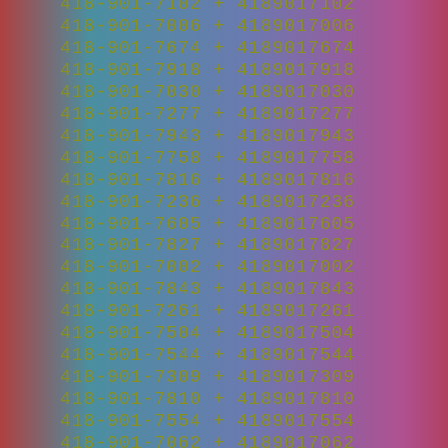418-901-7102 + 4189017102
418-901-7006 + 4189017006
418-901-7674 + 4189017674
418-901-7918 + 4189017918
418-901-7030 + 4189017030
418-901-7277 + 4189017277
418-901-7943 + 4189017943
418-901-7758 + 4189017758
418-901-7816 + 4189017816
418-901-7236 + 4189017236
418-901-7605 + 4189017605
418-901-7827 + 4189017827
418-901-7002 + 4189017002
418-901-7843 + 4189017843
418-901-7261 + 4189017261
418-901-7504 + 4189017504
418-901-7544 + 4189017544
418-901-7309 + 4189017309
418-901-7810 + 4189017810
418-901-7554 + 4189017554
418-901-7062 + 4189017062
418-901-7582 + 4189017582